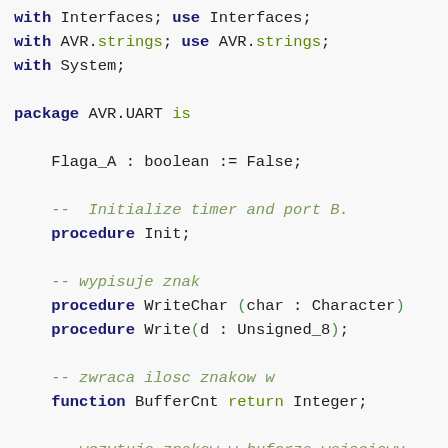with Interfaces; use Interfaces;
with AVR.strings; use AVR.strings;
with System;

package AVR.UART is

    Flaga_A : boolean := False;

    -- Initialize timer and port B.
    procedure Init;

    -- wypisuje znak
    procedure WriteChar (char : Character)
    procedure Write(d : Unsigned_8);

    -- zwraca ilosc znakow w
    function BufferCnt return Integer;

    -- wczytuje znakow w buforze wejsciowym
    function Read return Unsigned_8;
    function ReadChar ...